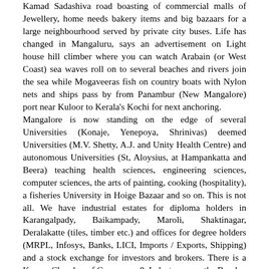Kamad Sadashiva road boasting of commercial malls of Jewellery, home needs bakery items and big bazaars for a large neighbourhood served by private city buses. Life has changed in Mangaluru, says an advertisement on Light house hill climber where you can watch Arabain (or West Coast) sea waves roll on to several beaches and rivers join the sea while Mogaveeras fish on country boats with Nylon nets and ships pass by from Panambur (New Mangalore) port near Kuloor to Kerala's Kochi for next anchoring.
Mangalore is now standing on the edge of several Universities (Konaje, Yenepoya, Shrinivas) deemed Universities (M.V. Shetty, A.J. and Unity Health Centre) and autonomous Universities (St, Aloysius, at Hampankatta and Beera) teaching health sciences, engineering sciences, computer sciences, the arts of painting, cooking (hospitality), a fisheries University in Hoige Bazaar and so on. This is not all. We have industrial estates for diploma holders in Karangalpady, Baikampady, Maroli, Shaktinagar, Deralakatte (tiles, timber etc.) and offices for degree holders (MRPL, Infosys, Banks, LICI, Imports / Exports, Shipping) and a stock exchange for investors and brokers. There is a Kanara Chamber of Commerce & Industry  near the Bunder, where Campco (arecanuts and cocoa dealers), Beedi-making Mansions in Kodial bail, and Jewellers all over the main parts of the city.
Mangalore city in Dakshin Kannada district has airport terminal, Railway terminal, private bus services / tourism terminal and national highways connecting South and North India. There is more but we will see later.